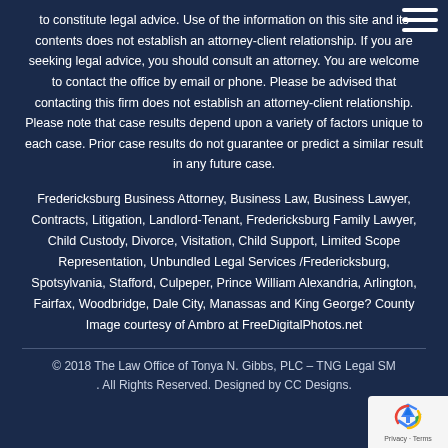to constitute legal advice. Use of the information on this site and its contents does not establish an attorney-client relationship. If you are seeking legal advice, you should consult an attorney. You are welcome to contact the office by email or phone. Please be advised that contacting this firm does not establish an attorney-client relationship. Please note that case results depend upon a variety of factors unique to each case. Prior case results do not guarantee or predict a similar result in any future case.
Fredericksburg Business Attorney, Business Law, Business Lawyer, Contracts, Litigation, Landlord-Tenant, Fredericksburg Family Lawyer, Child Custody, Divorce, Visitation, Child Support, Limited Scope Representation, Unbundled Legal Services /Fredericksburg, Spotsylvania, Stafford, Culpeper, Prince William Alexandria, Arlington, Fairfax, Woodbridge, Dale City, Manassas and King George? County Image courtesy of Ambro at FreeDigitalPhotos.net
© 2018 The Law Office of Tonya N. Gibbs, PLC – TNG Legal SM . All Rights Reserved. Designed by CC Designs.